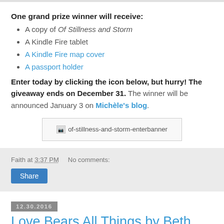One grand prize winner will receive:
A copy of Of Stillness and Storm
A Kindle Fire tablet
A Kindle Fire map cover
A passport holder
Enter today by clicking the icon below, but hurry! The giveaway ends on December 31. The winner will be announced January 3 on Michèle's blog.
[Figure (other): Broken image placeholder for of-stillness-and-storm-enterbanner]
Faith at 3:37 PM   No comments:
Share
12.30.2016
Love Bears All Things by Beth